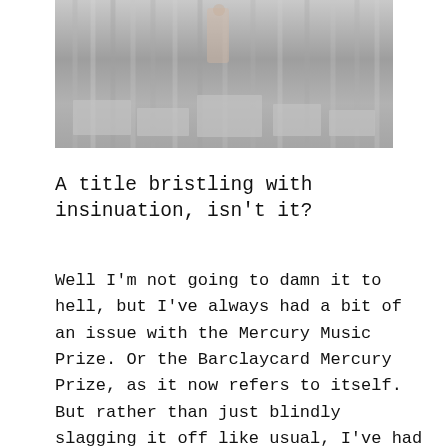[Figure (photo): A greyscale photo showing a person or figure standing among boxes or pedestals on a stage with curtain-like vertical elements in the background.]
A title bristling with insinuation, isn't it?
Well I'm not going to damn it to hell, but I've always had a bit of an issue with the Mercury Music Prize. Or the Barclaycard Mercury Prize, as it now refers to itself. But rather than just blindly slagging it off like usual, I've had me a little sit down to think about just what that issue is.